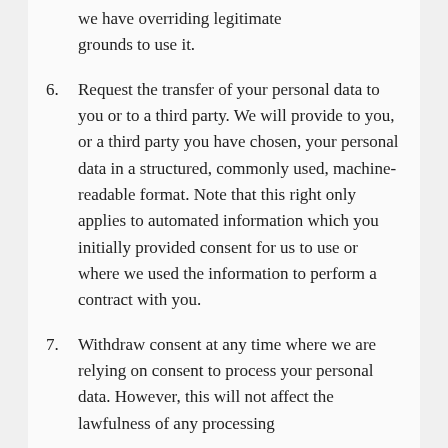(continuation) we have overriding legitimate grounds to use it.
6. Request the transfer of your personal data to you or to a third party. We will provide to you, or a third party you have chosen, your personal data in a structured, commonly used, machine-readable format. Note that this right only applies to automated information which you initially provided consent for us to use or where we used the information to perform a contract with you.
7. Withdraw consent at any time where we are relying on consent to process your personal data. However, this will not affect the lawfulness of any processing